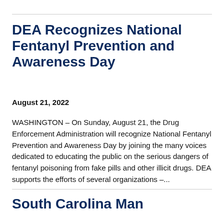DEA Recognizes National Fentanyl Prevention and Awareness Day
August 21, 2022
WASHINGTON – On Sunday, August 21, the Drug Enforcement Administration will recognize National Fentanyl Prevention and Awareness Day by joining the many voices dedicated to educating the public on the serious dangers of fentanyl poisoning from fake pills and other illicit drugs. DEA supports the efforts of several organizations –...
South Carolina Man